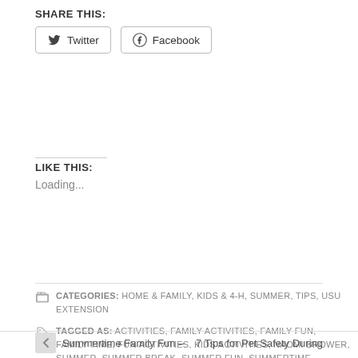SHARE THIS:
Twitter  Facebook
LIKE THIS:
Loading...
CATEGORIES: HOME & FAMILY, KIDS & 4-H, SUMMER, TIPS, USU EXTENSION
TAGGED AS: ACTIVITIES, FAMILY ACTIVITIES, FAMILY FUN, FAMILY TIME, FUN ACTIVITIES, KIDS ACTIVITIES, NAOMI BROWER, SUMMER, SUMMER BREAK, SUMMER FUN, SUMMERTIME
Summertime Family Fun –
7 Tips for Pet Safety During